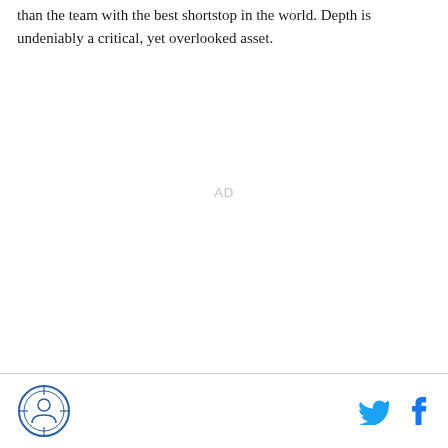than the team with the best shortstop in the world. Depth is undeniably a critical, yet overlooked asset.
AD
[Logo] [Twitter icon] [Facebook icon]